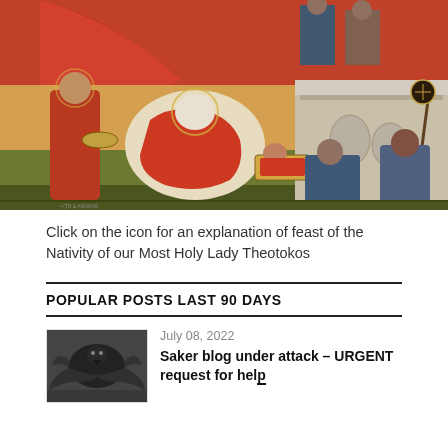[Figure (illustration): Byzantine Orthodox icon depicting the Nativity of the Theotokos (Virgin Mary). Central scene shows reclining mother figure in red robes attended by women and midwives, with infant in a cradle. Additional figures in upper portion and right side against golden/red background with architectural elements.]
Click on the icon for an explanation of feast of the Nativity of our Most Holy Lady Theotokos
POPULAR POSTS LAST 90 DAYS
July 08, 2022
Saker blog under attack – URGENT request for help